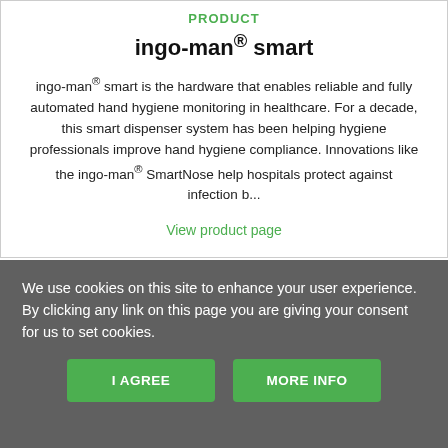PRODUCT
ingo-man® smart
ingo-man® smart is the hardware that enables reliable and fully automated hand hygiene monitoring in healthcare. For a decade, this smart dispenser system has been helping hygiene professionals improve hand hygiene compliance. Innovations like the ingo-man® SmartNose help hospitals protect against infection b...
View product page
We use cookies on this site to enhance your user experience.
By clicking any link on this page you are giving your consent for us to set cookies.
I AGREE
MORE INFO